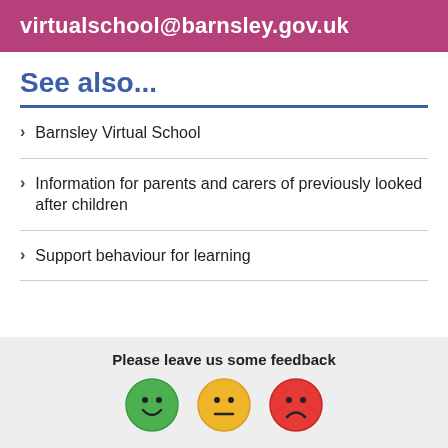virtualschool@barnsley.gov.uk
See also...
Barnsley Virtual School
Information for parents and carers of previously looked after children
Support behaviour for learning
Please leave us some feedback
[Figure (infographic): Three feedback emoji circles: green happy face, yellow neutral face, red sad face]